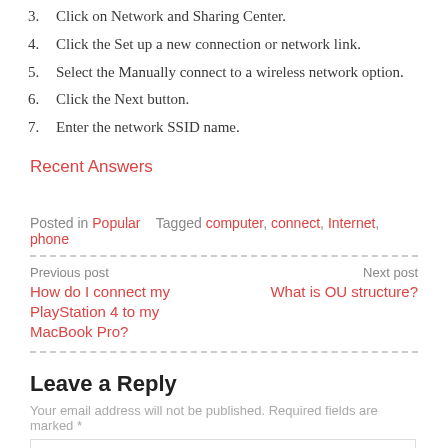3. Click on Network and Sharing Center.
4. Click the Set up a new connection or network link.
5. Select the Manually connect to a wireless network option.
6. Click the Next button.
7. Enter the network SSID name.
Recent Answers
Posted in Popular   Tagged computer, connect, Internet, phone
Previous post
How do I connect my PlayStation 4 to my MacBook Pro?
Next post
What is OU structure?
Leave a Reply
Your email address will not be published. Required fields are marked *